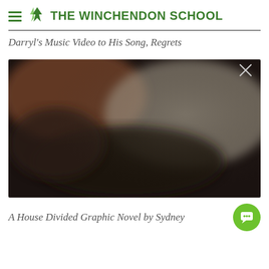THE WINCHENDON SCHOOL
Darryl's Music Video to His Song, Regrets
[Figure (photo): A dark, blurry video thumbnail showing a close-up scene with a white X close button in the upper right corner]
A House Divided Graphic Novel by Sydney